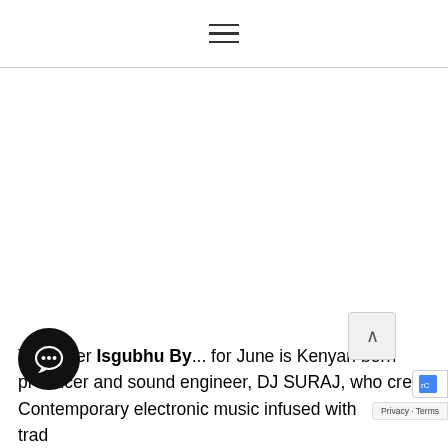Navigation menu icon (hamburger)
Takeover Isgubhu By... for June is Kenyan born DJ, producer and sound engineer, DJ SURAJ, who creates contemporary electronic music infused with traditional elements